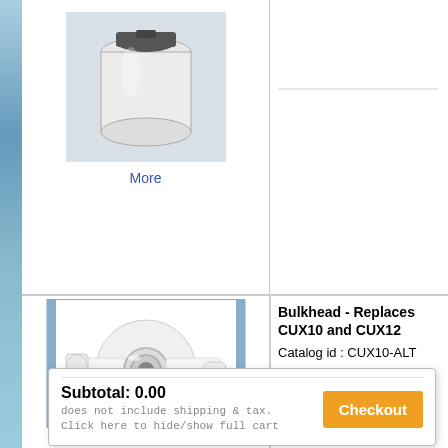[Figure (photo): Photo of a white cylindrical filter/fitting product with a black cap on gray background]
More
[Figure (photo): Photo of a water purification unit showing two tall white cylindrical cartridges inside a blue cabinet frame]
More Info
Subtotal: 0.00
does not include shipping & tax.
Click here to hide/show full cart
Checkout
[Figure (photo): Photo of a white plastic bulkhead fitting with metal ring]
Bulkhead - Replaces CUX10 and CUX12
Catalog id : CUX10-ALT
for use in Barnstead NANOpure Quad, Infinity and EASYpure